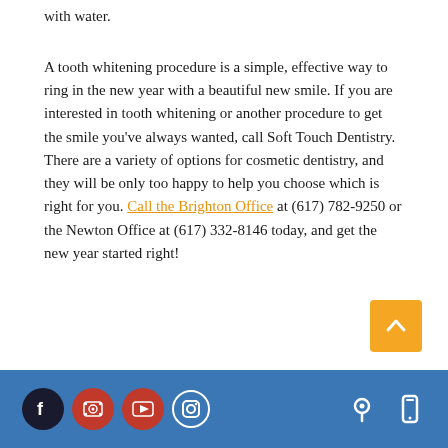with water.
A tooth whitening procedure is a simple, effective way to ring in the new year with a beautiful new smile. If you are interested in tooth whitening or another procedure to get the smile you've always wanted, call Soft Touch Dentistry. There are a variety of options for cosmetic dentistry, and they will be only too happy to help you choose which is right for you. Call the Brighton Office at (617) 782-9250 or the Newton Office at (617) 332-8146 today, and get the new year started right!
[Figure (other): Footer bar with social media icons (Facebook, two YouTube icons, Instagram) on the left and location/mobile icons on the right, on a blue background.]